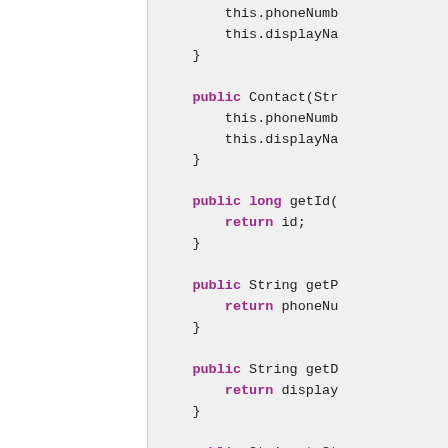[Figure (screenshot): Code editor screenshot showing Java class methods including constructors and getters for a Contact class, with syntax highlighting: keywords in bold purple/magenta, identifiers in dark gray, on a light gray background. Left panel is white. Code is partially cropped on the right.]